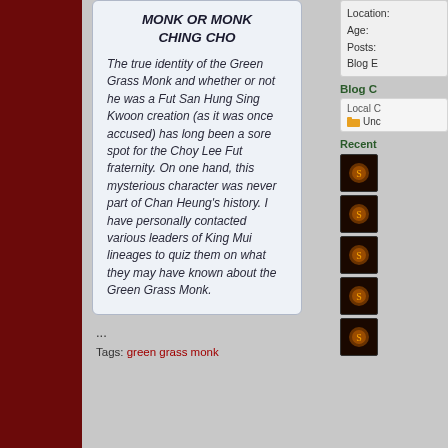MONK OR MONK CHING CHO
The true identity of the Green Grass Monk and whether or not he was a Fut San Hung Sing Kwoon creation (as it was once accused) has long been a sore spot for the Choy Lee Fut fraternity. On one hand, this mysterious character was never part of Chan Heung's history. I have personally contacted various leaders of King Mui lineages to quiz them on what they may have known about the Green Grass Monk.
...
Tags: green grass monk
Location:
Age:
Posts:
Blog E
Blog C
Local C
Unc
Recent